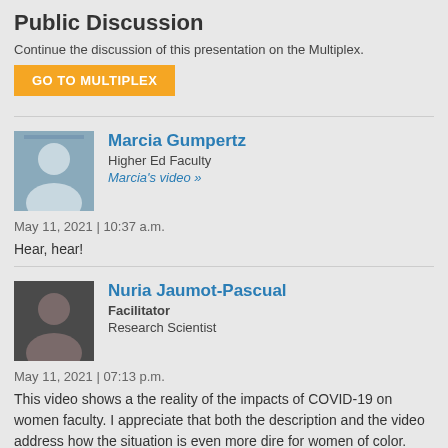Public Discussion
Continue the discussion of this presentation on the Multiplex.
GO TO MULTIPLEX
Marcia Gumpertz
Higher Ed Faculty
Marcia's video »
May 11, 2021 | 10:37 a.m.
Hear, hear!
Nuria Jaumot-Pascual
Facilitator
Research Scientist
May 11, 2021 | 07:13 p.m.
This video shows a the reality of the impacts of COVID-19 on women faculty. I appreciate that both the description and the video address how the situation is even more dire for women of color.
From what I gather from the description and the video, this video resulted from the webinar that brought together these six women to discuss the impacts of the pandemic on women faculty. What is the role of the webinar within the context of the NSF ADVANCE-IT